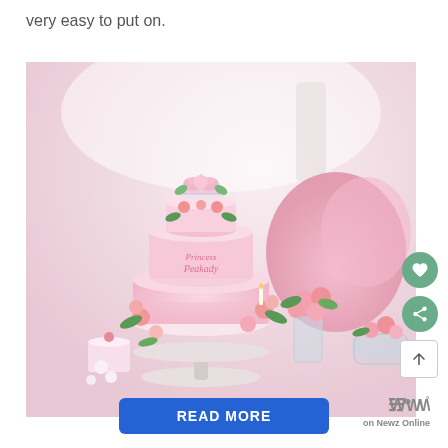very easy to put on.
[Figure (photo): A pink and white two-tiered decorated birthday cake labeled 'Princess Peakady' with a crown topper, surrounded by pink roses, greenery, and other desserts on a table. Pink tulle decorations visible in the background.]
READ MORE
[Figure (logo): Newz Online logo with stylized W and degree symbol]